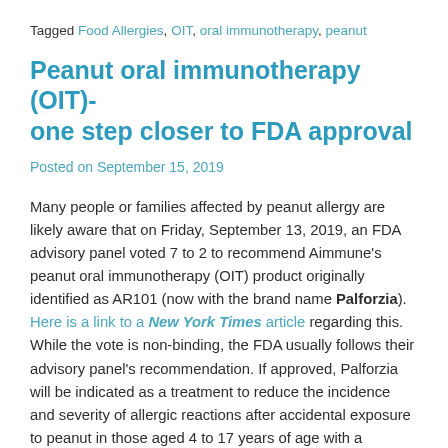Tagged Food Allergies, OIT, oral immunotherapy, peanut
Peanut oral immunotherapy (OIT)- one step closer to FDA approval
Posted on September 15, 2019
Many people or families affected by peanut allergy are likely aware that on Friday, September 13, 2019, an FDA advisory panel voted 7 to 2 to recommend Aimmune's peanut oral immunotherapy (OIT) product originally identified as AR101 (now with the brand name Palforzia). Here is a link to a New York Times article regarding this. While the vote is non-binding, the FDA usually follows their advisory panel's recommendation. If approved, Palforzia will be indicated as a treatment to reduce the incidence and severity of allergic reactions after accidental exposure to peanut in those aged 4 to 17 years of age with a confirmed diagnosis of peanut allergy.